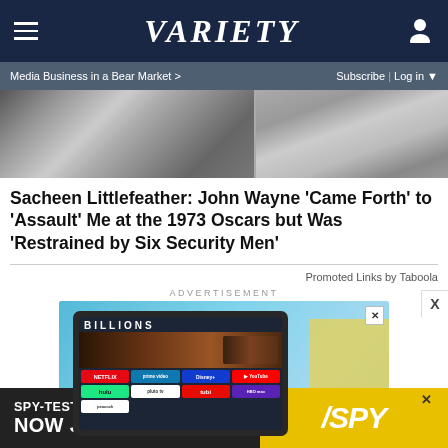Variety
Media Business in a Bear Market >  Subscribe | Log in
[Figure (photo): Black and white photo of two people, partially cropped at top of page]
Sacheen Littlefeather: John Wayne 'Came Forth' to 'Assault' Me at the 1973 Oscars but Was 'Restrained by Six Security Men'
Promoted Links by Taboola
ADVERTISEMENT
[Figure (screenshot): Advertisement showing a smart TV with streaming services (Netflix, Prime Video, Disney+, YouTube, Hulu, Pluto, Tubi, HBO Max, Peacock) displaying Billions TV show]
[Figure (advertisement): SPY-TESTED MASSAGE GUN NOW JUST $79 advertisement with SPY logo on yellow background]